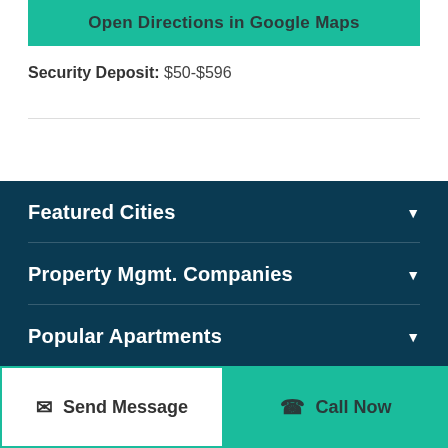Open Directions in Google Maps
Security Deposit: $50-$596
Featured Cities
Property Mgmt. Companies
Popular Apartments
About Us
Send Message
Call Now